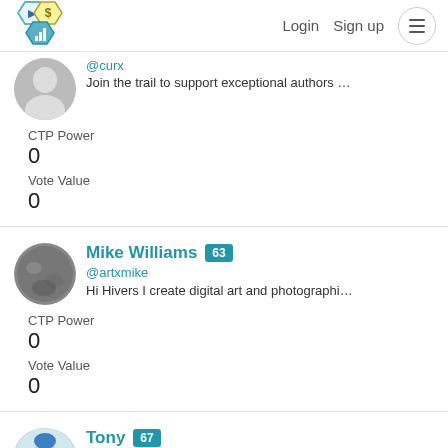Login  Sign up
@curx
Join the trail to support exceptional authors and increase your CTP Power
Vote Value
0
0
Mike Williams  63
@artxmike
Hi Hivers I create digital art and photographic images. I'm here
CTP Power
0
Vote Value
0
Tony  67
@tonyksart